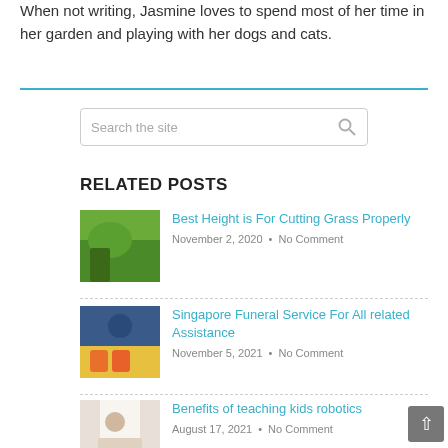When not writing, Jasmine loves to spend most of her time in her garden and playing with her dogs and cats.
RELATED POSTS
Best Height is For Cutting Grass Properly
November 2, 2020 • No Comment
Singapore Funeral Service For All related Assistance
November 5, 2021 • No Comment
Benefits of teaching kids robotics
August 17, 2021 • No Comment